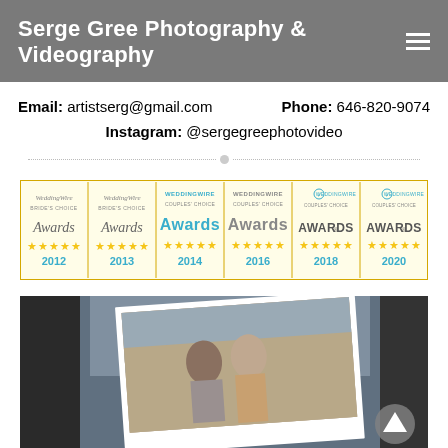Serge Gree Photography & Videography
Email: artistserg@gmail.com    Phone: 646-820-9074
Instagram: @sergegreephotovideo
[Figure (illustration): WeddingWire awards banner showing Bride's Choice Awards 2012, 2013 and Couples' Choice Awards 2014, 2016, 2018, 2020 with five-star ratings]
[Figure (photo): A couple walking and smiling in an urban setting, shown as a polaroid-style photo against a dark background]